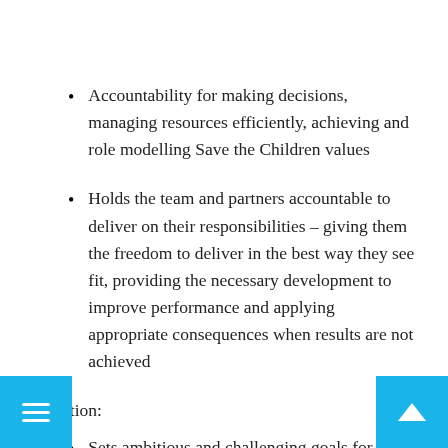Accountability for making decisions, managing resources efficiently, achieving and role modelling Save the Children values
Holds the team and partners accountable to deliver on their responsibilities – giving them the freedom to deliver in the best way they see fit, providing the necessary development to improve performance and applying appropriate consequences when results are not achieved
Ambition:
Sets ambitious and challenging goals for themselves (and their teams), takes responsibility for their